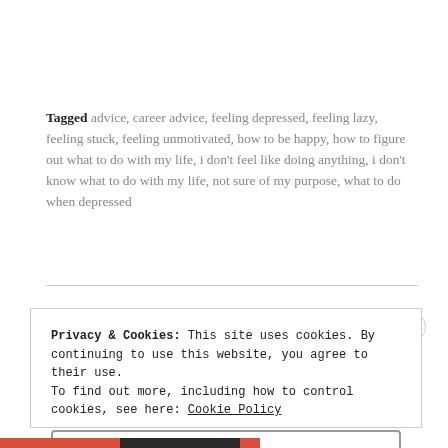Tagged advice, career advice, feeling depressed, feeling lazy, feeling stuck, feeling unmotivated, how to be happy, how to figure out what to do with my life, i don't feel like doing anything, i don't know what to do with my life, not sure of my purpose, what to do when depressed
Privacy & Cookies: This site uses cookies. By continuing to use this website, you agree to their use. To find out more, including how to control cookies, see here: Cookie Policy
Close and accept